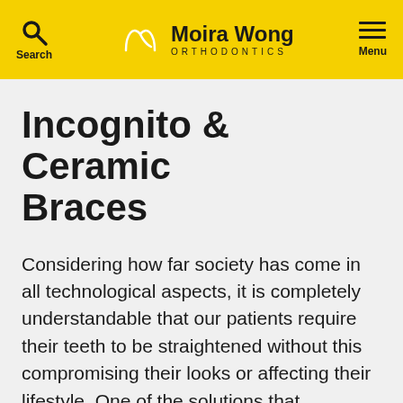Search | Moira Wong ORTHODONTICS | Menu
Incognito & Ceramic Braces
Considering how far society has come in all technological aspects, it is completely understandable that our patients require their teeth to be straightened without this compromising their looks or affecting their lifestyle. One of the solutions that